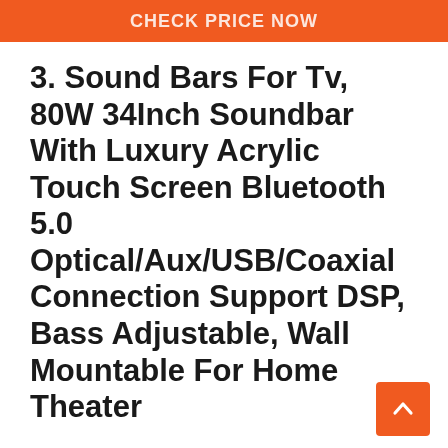Check Price Now
3. Sound Bars For Tv, 80W 34Inch Soundbar With Luxury Acrylic Touch Screen Bluetooth 5.0 Optical/Aux/USB/Coaxial Connection Support DSP, Bass Adjustable, Wall Mountable For Home Theater